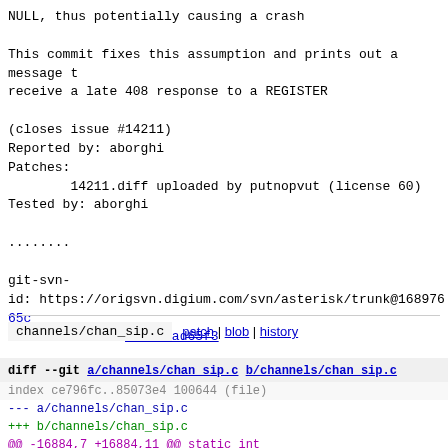NULL, thus potentially causing a crash

This commit fixes this assumption and prints out a message t
receive a late 408 response to a REGISTER

(closes issue #14211)
Reported by: aborghi
Patches:
        14211.diff uploaded by putnopvut (license 60)
Tested by: aborghi

........

git-svn-id: https://origsvn.digium.com/svn/asterisk/trunk@168976 65c
6c06-0410-ace0-fbb531ad65f3
channels/chan_sip.c   patch | blob | history
diff --git a/channels/chan_sip.c b/channels/chan_sip.c
index ce796fc..85073e4 100644 (file)
--- a/channels/chan_sip.c
+++ b/channels/chan_sip.c
@@ -16884,7 +16884,11 @@ static int handle_response_register
            break;
      case 408:      /* Request timeout */
            /* Got a timeout response, so reset the cour
-            r->regattempts = 0;